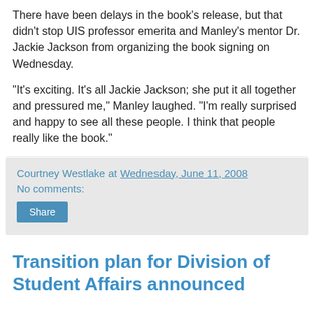There have been delays in the book's release, but that didn't stop UIS professor emerita and Manley's mentor Dr. Jackie Jackson from organizing the book signing on Wednesday.
"It's exciting. It's all Jackie Jackson; she put it all together and pressured me," Manley laughed. "I'm really surprised and happy to see all these people. I think that people really like the book."
Courtney Westlake at Wednesday, June 11, 2008
No comments:
Share
Transition plan for Division of Student Affairs announced
Chancellor Ringeisen announced today a transition plan for the Division of Student Affairs, to be effective when Vice Chancellor Chris Miller leaves UIS to become the Vice